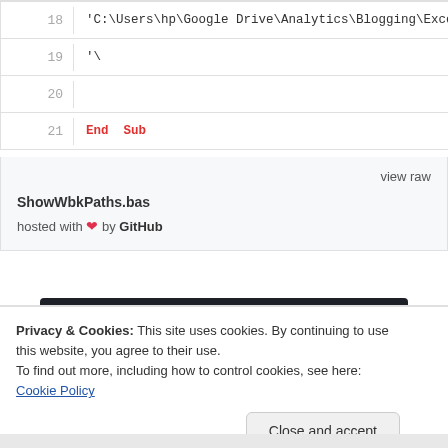[Figure (screenshot): Code editor snippet showing VBA lines 18-21. Line 18: 'C:\Users\hp\Google Drive\Analytics\Blogging\Excel ... Line 19: '\  Line 20: (blank)  Line 21: End Sub (in red/bold). Below is a GitHub Gist footer with 'view raw', filename 'ShowWbkPaths.bas', and 'hosted with heart by GitHub'. Below that is a dark ad banner with a 'Learn More' teal button.]
Privacy & Cookies: This site uses cookies. By continuing to use this website, you agree to their use.
To find out more, including how to control cookies, see here: Cookie Policy
Close and accept